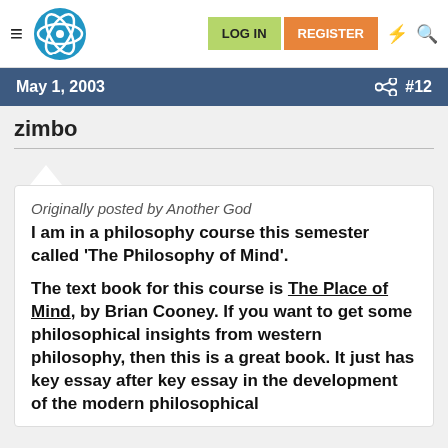LOG IN | REGISTER
May 1, 2003  #12
zimbo
Originally posted by Another God
I am in a philosophy course this semester called 'The Philosophy of Mind'.

The text book for this course is The Place of Mind, by Brian Cooney. If you want to get some philosophical insights from western philosophy, then this is a great book. It just has key essay after key essay in the development of the modern philosophical